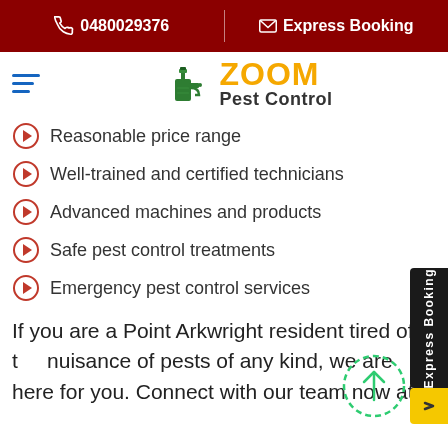0480029376 | Express Booking
[Figure (logo): Zoom Pest Control logo with green spray bottle and yellow ZOOM text]
Reasonable price range
Well-trained and certified technicians
Advanced machines and products
Safe pest control treatments
Emergency pest control services
If you are a Point Arkwright resident tired of the nuisance of pests of any kind, we are here for you. Connect with our team now at